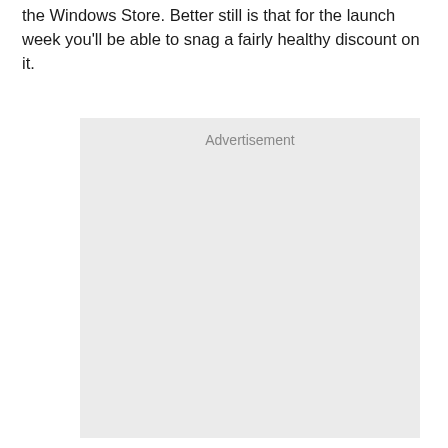the Windows Store. Better still is that for the launch week you'll be able to snag a fairly healthy discount on it.
[Figure (other): Advertisement placeholder box with light gray background and the label 'Advertisement' centered at the top.]